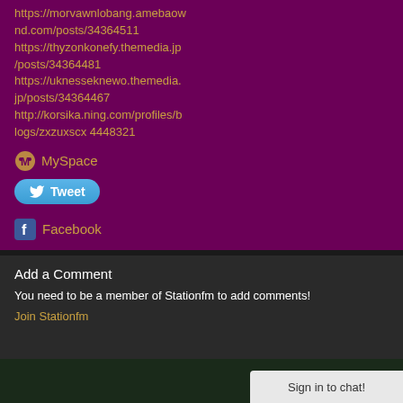https://morvawnlobang.amebaow nd.com/posts/34364511 https://thyzonkonefy.themedia.jp/posts/34364481 https://uknesseknewo.themedia.jp/posts/34364467 http://korsika.ning.com/profiles/blogs/zxzuxscx 4448321
MySpace
Tweet
Facebook
Add a Comment
You need to be a member of Stationfm to add comments!
Join Stationfm
Sign in to chat!